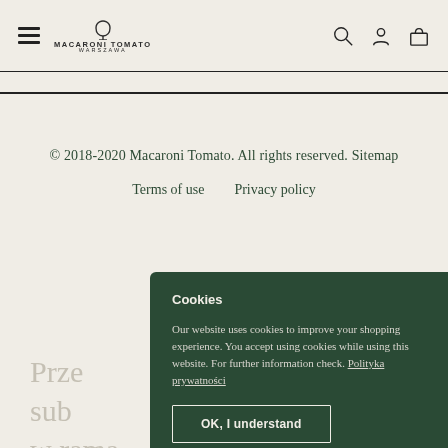MACARONI TOMATO WARSZAWA
© 2018-2020 Macaroni Tomato. All rights reserved. Sitemap
Terms of use   Privacy policy
Cookies
Our website uses cookies to improve your shopping experience. You accept using cookies while using this website. For further information check. Polityka prywatności
OK, I understand
Prze sub w rama